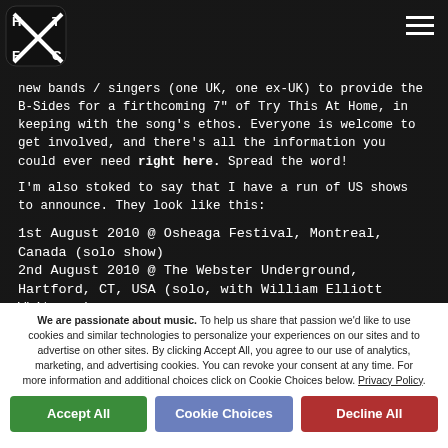[Figure (logo): HFTC logo — black heart shape with letters H, F, T, C]
new bands / singers (one UK, one ex-UK) to provide the B-Sides for a firthcoming 7" of Try This At Home, in keeping with the song's ethos. Everyone is welcome to get involved, and there's all the information you could ever need right here. Spread the word!
I'm also stoked to say that I have a run of US shows to announce. They look like this:
1st August 2010 @ Osheaga Festival, Montreal, Canada (solo show)
2nd August 2010 @ The Webster Underground, Hartford, CT, USA (solo, with William Elliott Whitmore)
3rd August 2010 @ Lost Horizon, Syracuse, NY, USA (solo, with William Elliott Whitmore)
We are passionate about music. To help us share that passion we'd like to use cookies and similar technologies to personalize your experiences on our sites and to advertise on other sites. By clicking Accept All, you agree to our use of analytics, marketing, and advertising cookies. You can revoke your consent at any time. For more information and additional choices click on Cookie Choices below. Privacy Policy.